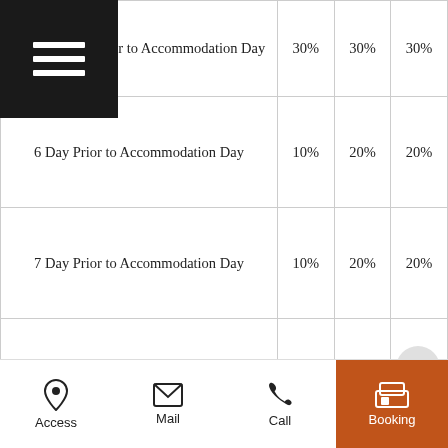|  | Col1 | Col2 | Col3 |
| --- | --- | --- | --- |
| …ay Prior to Accommodation Day | 30% | 30% | 30% |
| 6 Day Prior to Accommodation Day | 10% | 20% | 20% |
| 7 Day Prior to Accommodation Day | 10% | 20% | 20% |
| 8 Day Prior to Accommodation Day |  |  | 15% |
| 14 Day Prior to Accommodation Day |  |  | 10% |
Cancellation Charge for Hotel (Ref. Paragraph 2 of Article
Remarks:
Access | Mail | Call | Booking